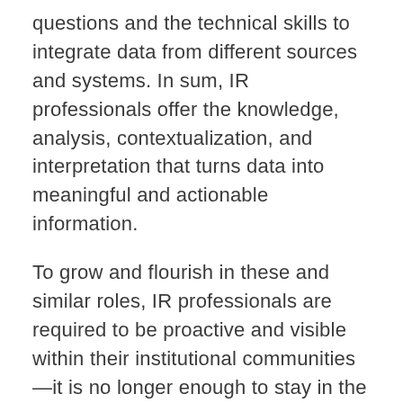questions and the technical skills to integrate data from different sources and systems. In sum, IR professionals offer the knowledge, analysis, contextualization, and interpretation that turns data into meaningful and actionable information.
To grow and flourish in these and similar roles, IR professionals are required to be proactive and visible within their institutional communities—it is no longer enough to stay in the IR office, complete required reporting, and respond only to the data needs of senior leaders.
The future of IR is linked to proactive approaches to build partnerships, expand the data literacy and capacity of users, and maintain a user-focused perspective. That is, IR professionals must be leaders who think